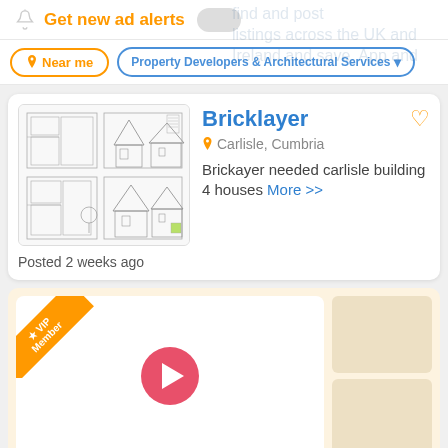Get new ad alerts
Near me
Property Developers & Architectural Services
Bricklayer
Carlisle, Cumbria
Brickayer needed carlisle building 4 houses More >>
Posted 2 weeks ago
[Figure (screenshot): VIP Member card with a play button and thumbnail images on the side]